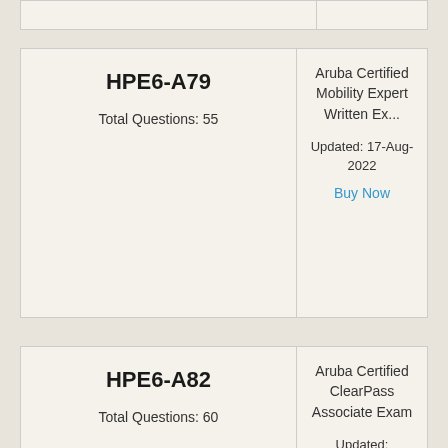| Exam Code | Details |
| --- | --- |
| HPE6-A79
Total Questions: 55 | Aruba Certified Mobility Expert Written Ex...
Updated: 17-Aug-2022
Buy Now |
| HPE6-A82
Total Questions: 60 | Aruba Certified ClearPass Associate Exam
Updated: |